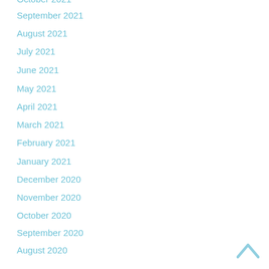October 2021
September 2021
August 2021
July 2021
June 2021
May 2021
April 2021
March 2021
February 2021
January 2021
December 2020
November 2020
October 2020
September 2020
August 2020
[Figure (other): Back to top chevron arrow icon in light blue]